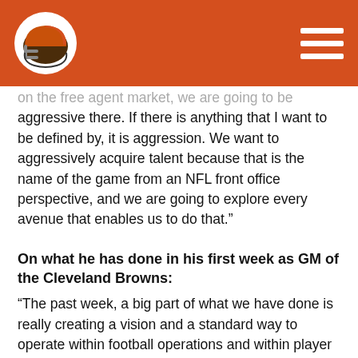[Figure (logo): Cleveland Browns logo on orange header bar with hamburger menu icon]
on the free agent market, we are going to be aggressive there. If there is anything that I want to be defined by, it is aggression. We want to aggressively acquire talent because that is the name of the game from an NFL front office perspective, and we are going to explore every avenue that enables us to do that.”
On what he has done in his first week as GM of the Cleveland Browns:
“The past week, a big part of what we have done is really creating a vision and a standard way to operate within football operations and within player personnel. I think that is so important so before we go off sprinting during this offseason, we are all moving in the same direction and operating in the ideal way.”